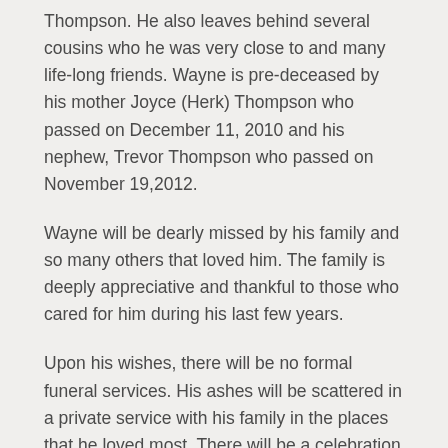Thompson. He also leaves behind several cousins who he was very close to and many life-long friends. Wayne is pre-deceased by his mother Joyce (Herk) Thompson who passed on December 11, 2010 and his nephew, Trevor Thompson who passed on November 19,2012.
Wayne will be dearly missed by his family and so many others that loved him. The family is deeply appreciative and thankful to those who cared for him during his last few years.
Upon his wishes, there will be no formal funeral services. His ashes will be scattered in a private service with his family in the places that he loved most. There will be a celebration of love and friendship in his honor in the springtime.
If you wish to make a donation in Wayne's memory, you